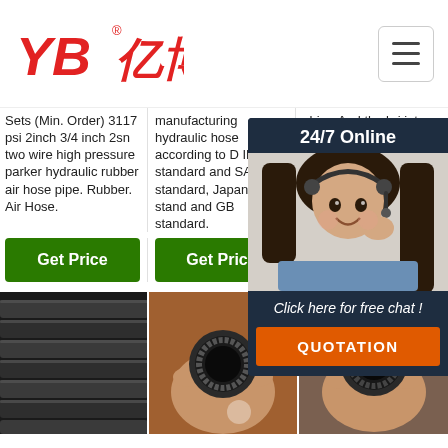[Figure (logo): YB 亿博 logo in red italic text with registered trademark symbol]
[Figure (illustration): Hamburger menu icon button, top right of header]
Sets (Min. Order) 3117 psi 2inch 3/4 inch 2sn two wire high pressure parker hydraulic rubber air hose pipe. Rubber. Air Hose.
manufacturing hydraulic hose according to D IN standard and SAE standard, Japanese stand and GB standard.
china.And the bri inte and cu in th bus
[Figure (illustration): Get Price green button - left column]
[Figure (illustration): Get Price green button - middle column]
[Figure (illustration): Get Price green button - right column (partially visible)]
[Figure (photo): Dark rubber hydraulic hoses/pipes stacked together, left image]
[Figure (photo): Hand holding end of a rubber hydraulic hose showing interior, middle image]
[Figure (photo): Hand holding end of a rubber hydraulic hose, with TOP badge watermark, right image]
[Figure (infographic): 24/7 Online chat widget overlay with customer service representative photo, Click here for free chat text, and QUOTATION orange button]